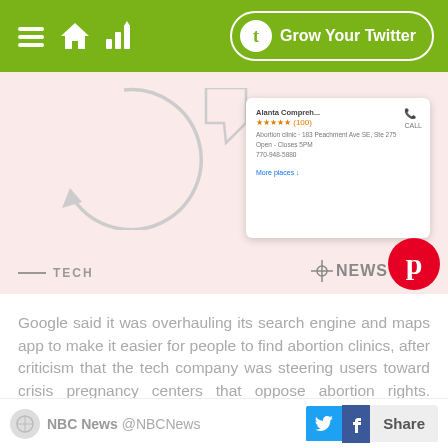Grow Your Twitter
[Figure (screenshot): NBC News article preview image showing a phone screen with abortion clinic search results. TECH label and NBC NEWS logo with Pinterest overlay visible at bottom.]
Google said it was overhauling its search engine and maps app to make it easier for people to find abortion clinics, after criticism that the tech company was steering users toward crisis pregnancy centers that oppose abortion rights. nbcnews.to/3Aq2yP3
1h
NBC News @NBCNews  Share